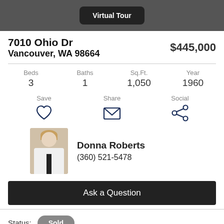Virtual Tour
7010 Ohio Dr
Vancouver, WA 98664
$445,000
Beds 3 | Baths 1 | Sq.Ft. 1,050 | Year 1960
Save | Share | Social
[Figure (photo): Headshot of real estate agent Donna Roberts in white blazer]
Donna Roberts
(360) 521-5478
Ask a Question
Status: Sold